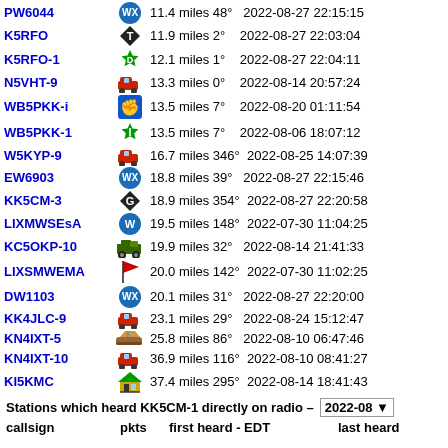PW6044  WX  11.4 miles 48°  2022-08-27 22:15:15
K5RFO  T  11.9 miles 2°  2022-08-27 22:03:04
K5RFO-1  D  12.1 miles 1°  2022-08-27 22:04:11
N5VHT-9  [car]  13.3 miles 0°  2022-08-14 20:57:24
WB5PKK-i  [icon]  13.5 miles 7°  2022-08-20 01:11:54
WB5PKK-1  I  13.5 miles 7°  2022-08-06 18:07:12
W5KYP-9  [car]  16.7 miles 346°  2022-08-25 14:07:39
EW6903  WX  18.8 miles 39°  2022-08-27 22:15:46
KK5CM-3  G  18.9 miles 354°  2022-08-27 22:20:58
LIXMWSEsA  W  19.5 miles 148°  2022-07-30 11:04:25
KC5OKP-10  [tractor]  19.9 miles 32°  2022-08-14 21:41:33
LIXSMWEMA  [flag]  20.0 miles 142°  2022-07-30 11:02:25
DW1103  WX  20.1 miles 31°  2022-08-27 22:20:00
KK4JLC-9  [car]  23.1 miles 29°  2022-08-24 15:12:47
KN4IXT-5  [boat]  25.8 miles 86°  2022-08-10 06:47:46
KN4IXT-10  [car]  36.9 miles 116°  2022-08-10 08:41:27
KI5KMC  [house]  37.4 miles 295°  2022-08-14 18:41:43
Stations which heard KK5CM-1 directly on radio – 2022-08 ▾
| callsign | pkts | first heard - EDT | last heard |
| --- | --- | --- | --- |